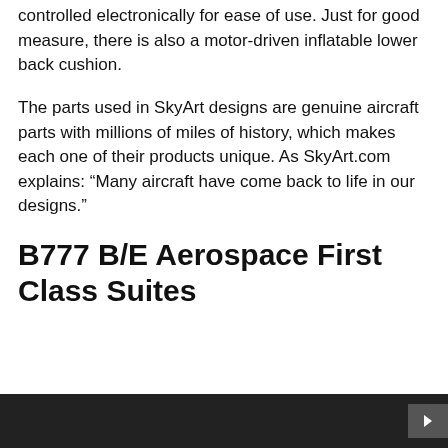controlled electronically for ease of use. Just for good measure, there is also a motor-driven inflatable lower back cushion.
The parts used in SkyArt designs are genuine aircraft parts with millions of miles of history, which makes each one of their products unique. As SkyArt.com explains: “Many aircraft have come back to life in our designs.”
B777 B/E Aerospace First Class Suites